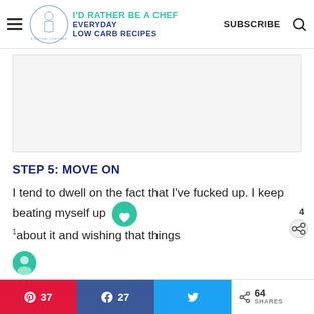I'D RATHER BE A CHEF — EVERYDAY LOW CARB RECIPES | SUBSCRIBE
[Figure (other): Advertisement placeholder box (light gray rectangle)]
STEP 5: MOVE ON
I tend to dwell on the fact that I've fucked up. I keep beating myself up about it and wishing that things